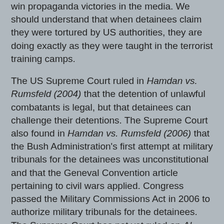win propaganda victories in the media. We should understand that when detainees claim they were tortured by US authorities, they are doing exactly as they were taught in the terrorist training camps.
The US Supreme Court ruled in Hamdan vs. Rumsfeld (2004) that the detention of unlawful combatants is legal, but that detainees can challenge their detentions. The Supreme Court also found in Hamdan vs. Rumsfeld (2006) that the Bush Administration's first attempt at military tribunals for the detainees was unconstitutional and that the Geneval Convention article pertaining to civil wars applied. Congress passed the Military Commissions Act in 2006 to authorize military tribunals for the detainees. The Supreme Court has not yet ruled on Al Odah vs. United States which seeks to apply habeas corpus rights to the detainees and give federal, not military, courts jurisdiction.
The problem with Guantanamo is the perception, due to Al Qaeda propaganda disseminated through the western media, that the detainees are innocent people who are being detained and tortured without regard to US and international